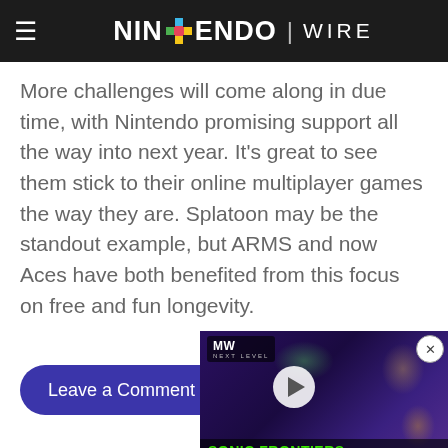NINTENDO WIRE
More challenges will come along in due time, with Nintendo promising support all the way into next year. It's great to see them stick to their online multiplayer games the way they are. Splatoon may be the standout example, but ARMS and now Aces have both benefited from this focus on free and fun longevity.
Leave a Comment
[Figure (screenshot): Video widget showing Sonic Frontiers Release Date thumbnail with play button and MW Next Level logo overlay]
[Figure (photo): Bottom section with avatar/profile photo circle on grey gamepad-pattern background with red bar on left and scroll-to-top button]